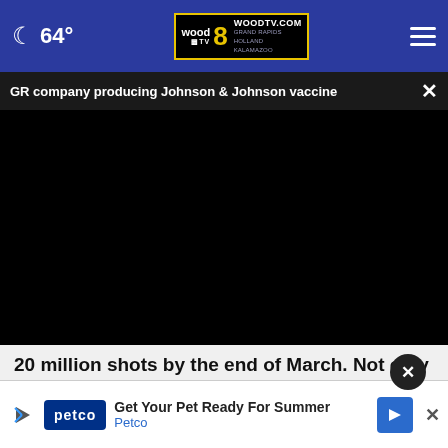64° WOODTV.COM GRAND RAPIDS HOLLAND KALAMAZOO wood 8 TV
GR company producing Johnson & Johnson vaccine ×
[Figure (screenshot): Black video player area]
20 million shots by the end of March. Not only will that
help boost the number of shots available, but Johnson & Joh... ed as
[Figure (screenshot): Petco advertisement banner: Get Your Pet Ready For Summer - Petco]
this...